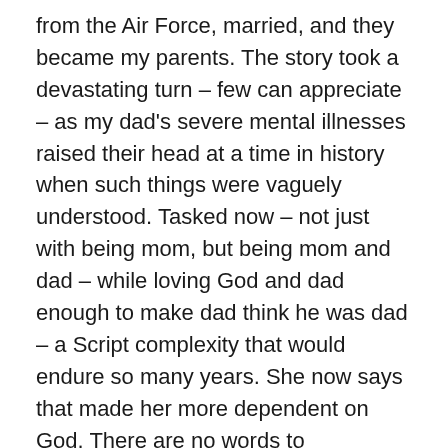from the Air Force, married, and they became my parents. The story took a devastating turn – few can appreciate – as my dad's severe mental illnesses raised their head at a time in history when such things were vaguely understood. Tasked now – not just with being mom, but being mom and dad – while loving God and dad enough to make dad think he was dad – a Script complexity that would endure so many years. She now says that made her more dependent on God. There are no words to adequately describe this part of the Story. Dad's journey ended in final rest some years ago but Jane's Script continues. However, it's now taking a different turn.
I have no memory of her ever doubting the Great Script Writer – even though I have often. Somehow in the midst of raising her children, and fostering other's children, and caring for her husband, she found time to earn a